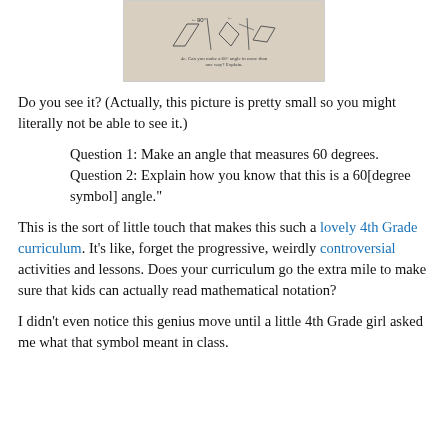[Figure (photo): Photo of a worksheet showing geometric shapes (parallelograms) with angle labels and questions about making a 60-degree angle.]
Do you see it? (Actually, this picture is pretty small so you might literally not be able to see it.)
Question 1: Make an angle that measures 60 degrees.
Question 2: Explain how you know that this is a 60[degree symbol] angle."
This is the sort of little touch that makes this such a lovely 4th Grade curriculum. It's like, forget the progressive, weirdly controversial activities and lessons. Does your curriculum go the extra mile to make sure that kids can actually read mathematical notation?
I didn't even notice this genius move until a little 4th Grade girl asked me what that symbol meant in class.